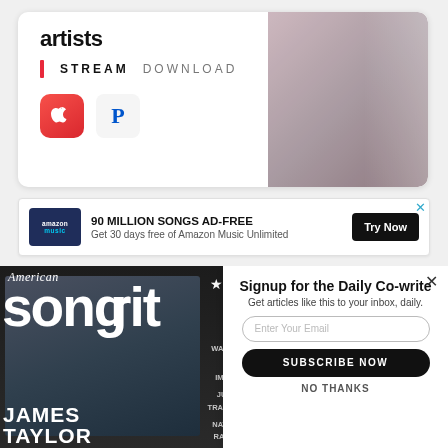[Figure (screenshot): Music streaming widget showing 'artists', STREAM and DOWNLOAD options, Apple Music and Pandora icons, with a blurred artist photo on the right]
[Figure (screenshot): Amazon Music advertisement banner: '90 MILLION SONGS AD-FREE', 'Get 30 days free of Amazon Music Unlimited', with a 'Try Now' button and close X]
[Figure (screenshot): American Songwriter magazine cover featuring James Taylor, with text overlays for Rufus Wainwright, Tame Impala, Justin Tranter, Nathan Rateliff]
[Figure (screenshot): Newsletter signup modal: 'Signup for the Daily Co-write', 'Get articles like this to your inbox, daily.', email input, SUBSCRIBE NOW button, NO THANKS link]